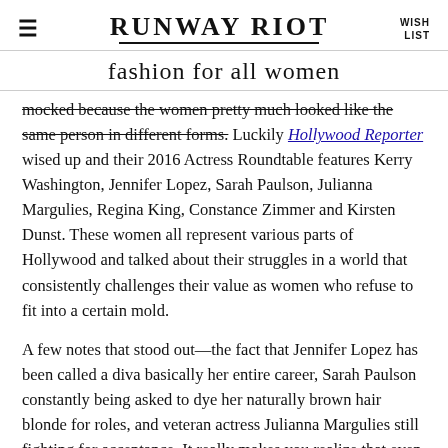RUNWAY RIOT | fashion for all women | WISH LIST
mocked because the women pretty much looked like the same person in different forms. Luckily Hollywood Reporter wised up and their 2016 Actress Roundtable features Kerry Washington, Jennifer Lopez, Sarah Paulson, Julianna Margulies, Regina King, Constance Zimmer and Kirsten Dunst. These women all represent various parts of Hollywood and talked about their struggles in a world that consistently challenges their value as women who refuse to fit into a certain mold.
A few notes that stood out—the fact that Jennifer Lopez has been called a diva basically her entire career, Sarah Paulson constantly being asked to dye her naturally brown hair blonde for roles, and veteran actress Julianna Margulies still fighting for acceptance. It really makes you realize that even women that are extremely accomplished in a public way are still asked to do things to make